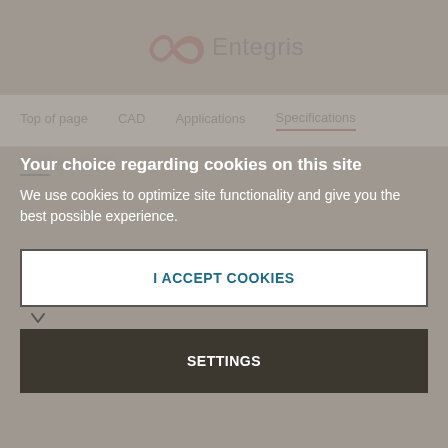[Figure (logo): Entegris company logo with infinity-like symbol in dark red and 'Entegris' text in dark gray]
Top of page   CAD   Applications   Specifications
Your choice regarding cookies on this site
We use cookies to optimize site functionality and give you the best possible experience.
I ACCEPT COOKIES
SETTINGS